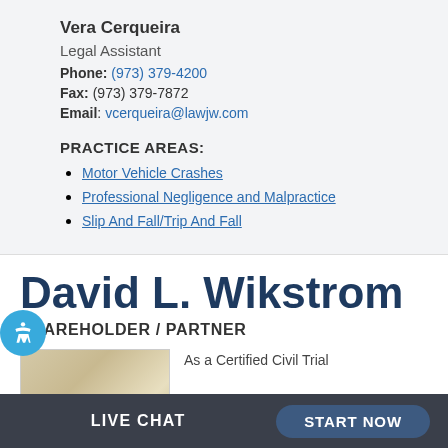Vera Cerqueira
Legal Assistant
Phone: (973) 379-4200
Fax: (973) 379-7872
Email: vcerqueira@lawjw.com
PRACTICE AREAS:
Motor Vehicle Crashes
Professional Negligence and Malpractice
Slip And Fall/Trip And Fall
David L. Wikstrom
SHAREHOLDER / PARTNER
[Figure (photo): Portrait photo of David L. Wikstrom]
As a Certified Civil Trial
LIVE CHAT
START NOW